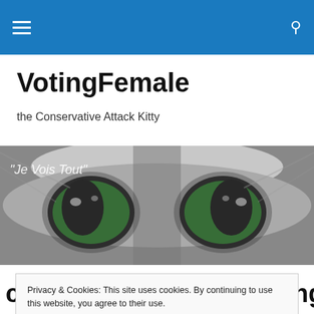Navigation bar with hamburger menu and search icon
VotingFemale
the Conservative Attack Kitty
[Figure (photo): Close-up black and white photo of a cat's face with vivid green eyes, with text overlay reading 'Je Vois Tout']
Privacy & Cookies: This site uses cookies. By continuing to use this website, you agree to their use.
To find out more, including how to control cookies, see here: Cookie Policy
[Close and accept button]
chews out Media for airing it